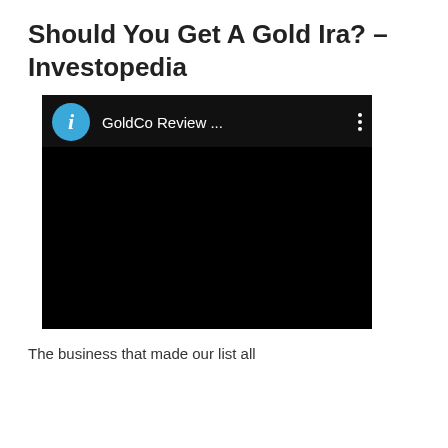Should You Get A Gold Ira? – Investopedia
[Figure (screenshot): A video player screenshot showing a dark/black video area with a top bar containing a blue circular icon with the letter 'i', the text 'GoldCo Review ...' and a three-dot menu icon on the right.]
The business that made our list all